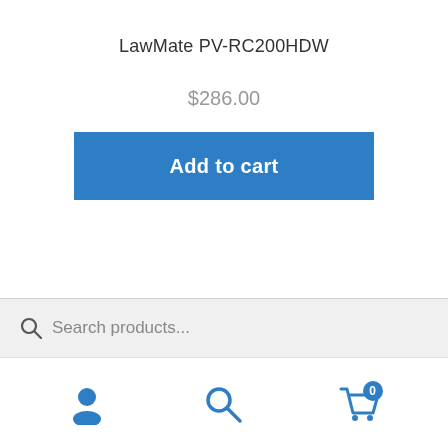LawMate PV-RC200HDW
$286.00
Add to cart
Search products...
Product Details...
[Figure (illustration): Bottom navigation bar with user account icon, search icon, and shopping cart icon with badge showing 0]